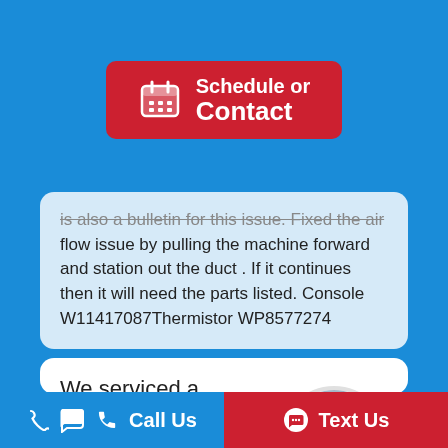[Figure (infographic): Red 'Schedule or Contact' button with calendar icon on blue background]
is also a bulletin for this issue. Fixed the air flow issue by pulling the machine forward and station out the duct . If it continues then it will need the parts listed. Console W11417087Thermistor WP8577274
We serviced a
GE DRYER-GAS
[Figure (photo): Circular photo of a technician in a red shirt]
Call Us   Text Us